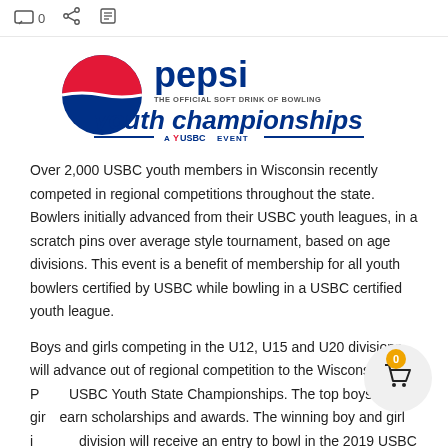0
[Figure (logo): Pepsi Youth Championships — A USBC Event logo. Features Pepsi globe icon, 'pepsi' in dark blue, 'THE OFFICIAL SOFT DRINK OF BOWLING', 'youth championships' in large dark blue, 'A USBC EVENT' banner.]
Over 2,000 USBC youth members in Wisconsin recently competed in regional competitions throughout the state. Bowlers initially advanced from their USBC youth leagues, in a scratch pins over average style tournament, based on age divisions.  This event is a benefit of membership for all youth bowlers certified by USBC while bowling in a USBC certified youth league.
Boys and girls competing in the U12, U15 and U20 divisions will advance out of regional competition to the Wisconsin Pepsi USBC Youth State Championships. The top boys and girls earn scholarships and awards. The winning boy and girl in each division will receive an entry to bowl in the 2019 USBC Junior